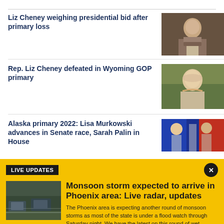Liz Cheney weighing presidential bid after primary loss
[Figure (photo): Photo of Liz Cheney at podium]
Rep. Liz Cheney defeated in Wyoming GOP primary
[Figure (photo): Photo of Liz Cheney smiling outdoors]
Alaska primary 2022: Lisa Murkowski advances in Senate race, Sarah Palin in House
[Figure (photo): Photo of political figures with flags]
LIVE UPDATES
[Figure (photo): Cars driving in monsoon rain on Phoenix street]
Monsoon storm expected to arrive in Phoenix area: Live radar, updates
The Phoenix area is expecting another round of monsoon storms as most of the state is under a flood watch through Saturday night. We have the latest on this round of wet weather.